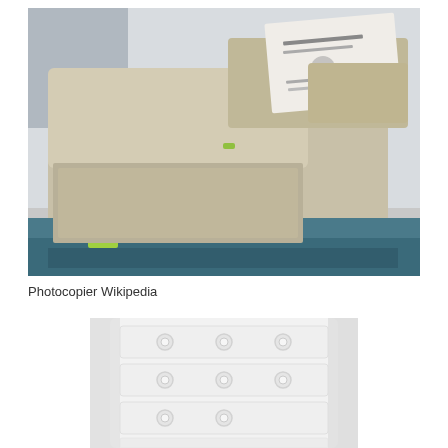[Figure (photo): Photograph of a photocopier/scanner machine, beige/cream colored with a document feeder lid open, showing a document being fed. The machine sits on a blue base. Taken from an angle showing the top and front of the machine.]
Photocopier Wikipedia
[Figure (photo): Close-up photograph of a white/cream colored appliance or machine (appears to be a filing cabinet or locker unit) with multiple drawers/panels, each having circular handles or buttons. The image is slightly blurry/out of focus.]